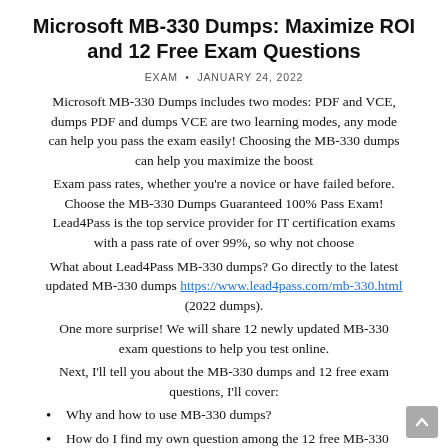Microsoft MB-330 Dumps: Maximize ROI and 12 Free Exam Questions
EXAM  •  JANUARY 24, 2022
Microsoft MB-330 Dumps includes two modes: PDF and VCE, dumps PDF and dumps VCE are two learning modes, any mode can help you pass the exam easily! Choosing the MB-330 dumps can help you maximize the boost
Exam pass rates, whether you're a novice or have failed before. Choose the MB-330 Dumps Guaranteed 100% Pass Exam! Lead4Pass is the top service provider for IT certification exams with a pass rate of over 99%, so why not choose
What about Lead4Pass MB-330 dumps? Go directly to the latest updated MB-330 dumps https://www.lead4pass.com/mb-330.html (2022 dumps).
One more surprise! We will share 12 newly updated MB-330 exam questions to help you test online.
Next, I'll tell you about the MB-330 dumps and 12 free exam questions, I'll cover:
Why and how to use MB-330 dumps?
How do I find my own question among the 12 free MB-330 exam questions?